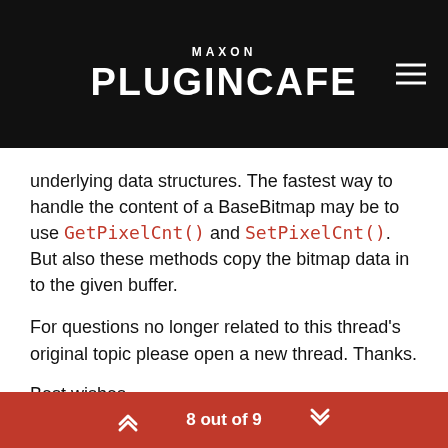MAXON PLUGINCAFE
underlying data structures. The fastest way to handle the content of a BaseBitmap may be to use GetPixelCnt() and SetPixelCnt(). But also these methods copy the bitmap data in to the given buffer.
For questions no longer related to this thread's original topic please open a new thread. Thanks.
Best wishes,
Sebastian
0  9  376  Log in to reply
8 out of 9